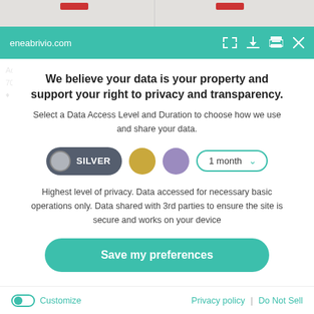eneabrivio.com
We believe your data is your property and support your right to privacy and transparency.
Select a Data Access Level and Duration to choose how we use and share your data.
[Figure (screenshot): Privacy level selector showing SILVER button (dark grey pill with grey circle), a gold circle dot, a purple circle dot, and a '1 month' dropdown with teal border and chevron]
Highest level of privacy. Data accessed for necessary basic operations only. Data shared with 3rd parties to ensure the site is secure and works on your device
Save my preferences
Customize | Privacy policy | Do Not Sell